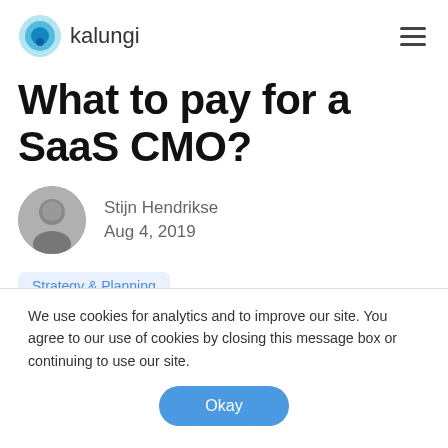kalungi
What to pay for a SaaS CMO?
Stijn Hendrikse
Aug 4, 2019
Strategy & Planning
We use cookies for analytics and to improve our site. You agree to our use of cookies by closing this message box or continuing to use our site.